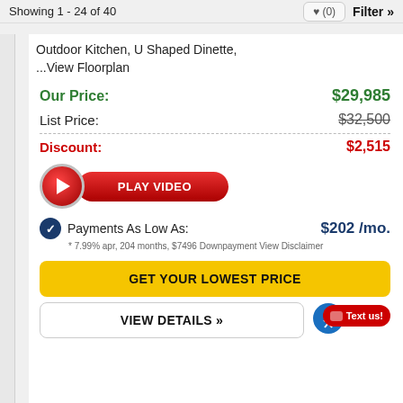Showing 1 - 24 of 40   ♥ (0)   Filter »
Outdoor Kitchen, U Shaped Dinette, ...View Floorplan
Our Price: $29,985
List Price: $32,500
Discount: $2,515
[Figure (other): Red play video button with circle play icon and gradient red pill shape labeled PLAY VIDEO]
Payments As Low As: $202 /mo.
* 7.99% apr, 204 months, $7496 Downpayment View Disclaimer
GET YOUR LOWEST PRICE
VIEW DETAILS »